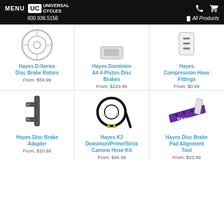MENU | UC UNIVERSAL CYCLES | 800.936.5156 | All Products
[Figure (photo): Hayes D-Series Disc Brake Rotors product image]
Hayes D-Series Disc Brake Rotors
From: $59.99
[Figure (photo): Hayes Dominion A4 4-Piston Disc Brakes product image (not shown, truncated at top)]
Hayes Dominion A4 4-Piston Disc Brakes
From: $229.99
[Figure (photo): Hayes Compression Hose Fittings product image (not shown)]
Hayes Compression Hose Fittings
From: $0.99
[Figure (photo): Hayes Disc Brake Adapter product image]
Hayes Disc Brake Adapter
From: $10.99
[Figure (photo): Hayes K2 Dominion/Prime/Strok Camino Hose Kit product image]
Hayes K2 Dominion/Prime/Strok Camino Hose Kit
From: $46.99
[Figure (photo): Hayes Disc Brake Pad Alignment Tool product image]
Hayes Disc Brake Pad Alignment Tool
From: $23.99